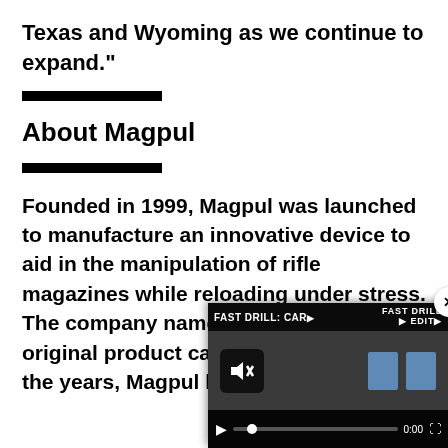Texas and Wyoming as we continue to expand."
About Magpul
Founded in 1999, Magpul was launched to manufacture an innovative device to aid in the manipulation of rifle magazines while reloading under stress. The company name comes from the original product called the Magpul. Over the years, Magpul has continued
[Figure (screenshot): Video overlay player showing 'FAST DRILL: CAR...' with playback controls, mute button, progress bar at 0:00, two blue target icons visible in thumbnail. Close (x) button in top-right corner.]